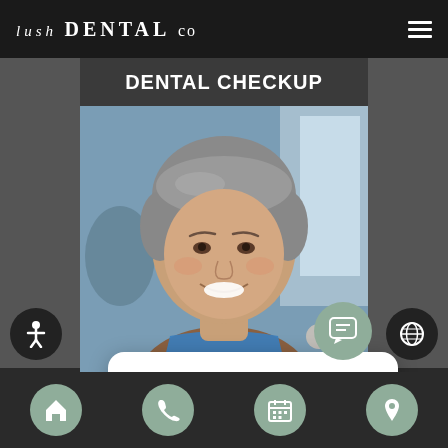LUSH DENTAL CO
DENTAL CHECKUP
[Figure (photo): Smiling middle-aged woman with short gray hair sitting in a dental chair wearing a blue dental bib]
close
Hello! Do you have any questions that I can help with?
TEETH WHITENING
Navigation bar with home, phone, calendar, location icons; accessibility and globe buttons